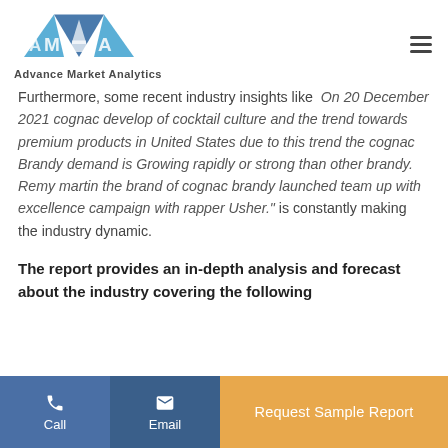Advance Market Analytics
Furthermore, some recent industry insights like “On 20 December 2021 cognac develop of cocktail culture and the trend towards premium products in United States due to this trend the cognac Brandy demand is Growing rapidly or strong than other brandy. Remy martin the brand of cognac brandy launched team up with excellence campaign with rapper Usher.” is constantly making the industry dynamic.
The report provides an in-depth analysis and forecast about the industry covering the following
Call | Email | Request Sample Report